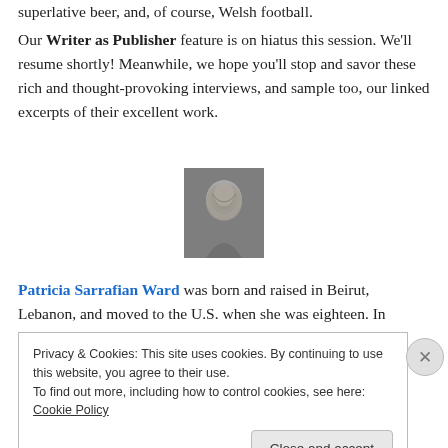superlative beer, and, of course, Welsh football.
Our Writer as Publisher feature is on hiatus this session. We'll resume shortly! Meanwhile, we hope you'll stop and savor these rich and thought-provoking interviews, and sample too, our linked excerpts of their excellent work.
[Figure (photo): Black and white headshot photo of Patricia Sarrafian Ward, a woman with light hair, smiling]
Patricia Sarrafian Ward was born and raised in Beirut, Lebanon, and moved to the U.S. when she was eighteen. In
Privacy & Cookies: This site uses cookies. By continuing to use this website, you agree to their use.
To find out more, including how to control cookies, see here: Cookie Policy